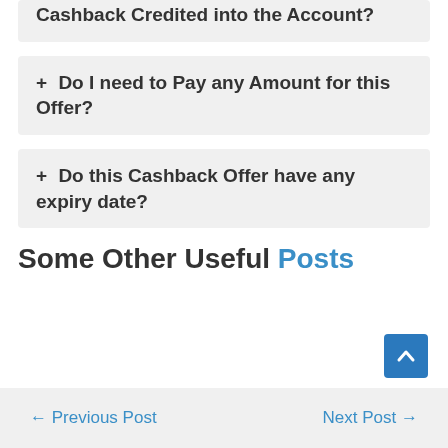+ Cashback Credited into the Account?
+ Do I need to Pay any Amount for this Offer?
+ Do this Cashback Offer have any expiry date?
Some Other Useful Posts
← Previous Post   Next Post →